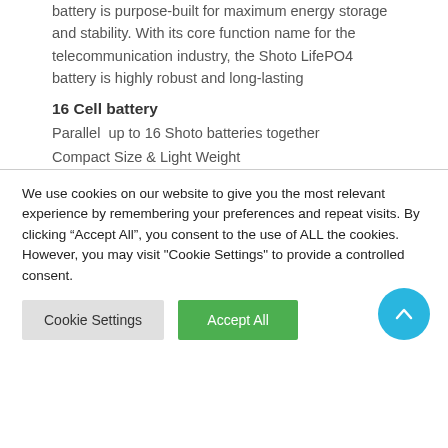battery is purpose-built for maximum energy storage and stability. With its core function name for the telecommunication industry, the Shoto LifePO4 battery is highly robust and long-lasting
16 Cell battery
Parallel  up to 16 Shoto batteries together
Compact Size & Light Weight
We use cookies on our website to give you the most relevant experience by remembering your preferences and repeat visits. By clicking "Accept All", you consent to the use of ALL the cookies. However, you may visit "Cookie Settings" to provide a controlled consent.
Cookie Settings
Accept All